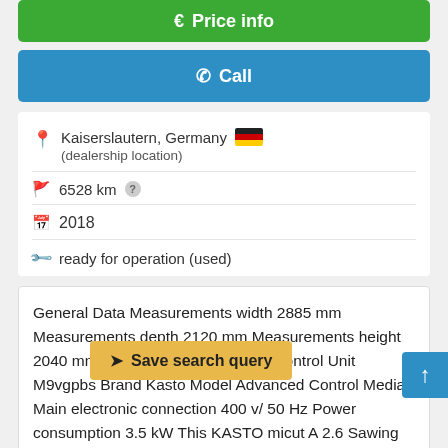€ Price info
✆ Call
Kaiserslautern, Germany 🇩🇪 (dealership location)
6528 km ?
2018
ready for operation (used)
General Data Measurements width 2885 mm Measurements depth 2120 mm Measurements height 2040 mm Machine weight 1100 kg Control Unit M9vgpbs Brand Kasto Model Advanced Control Media Main electronic connection 400 v/ 50 Hz Power consumption 3.5 kW This KASTO micut A 2.6 Sawing machine w... 8 in Germany. It is equipped with a Kasto Advanced control unit. The machine can operate with a cutting
⬆ Save search query